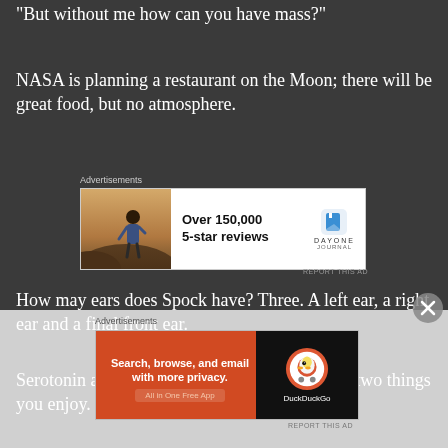“But without me how can you have mass?”
NASA is planning a restaurant on the Moon; there will be great food, but no atmosphere.
[Figure (infographic): Advertisement banner for Day One Journal app: photo of person facing away, text 'Over 150,000 5-star reviews', Day One Journal logo with blue bookmark icon]
How may ears does Spock have? Three. A left ear, a right ear and a final front ear.
Serotonin and dopamine. Technically, the only two things you enjoy.
[Figure (infographic): Advertisement banner for DuckDuckGo: orange background with text 'Search, browse, and email with more privacy. All in One Free App', DuckDuckGo logo on dark background]
[Figure (other): Close/dismiss button (circle with X) at bottom right]